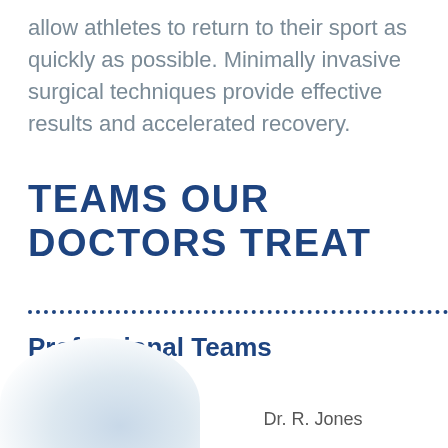allow athletes to return to their sport as quickly as possible. Minimally invasive surgical techniques provide effective results and accelerated recovery.
TEAMS OUR DOCTORS TREAT
Professional Teams
Dr. R. Jones